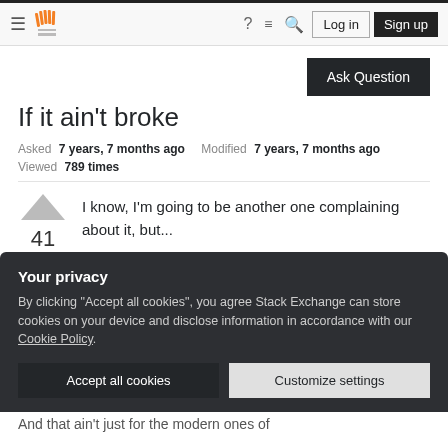Stack Exchange navigation bar with Log in and Sign up buttons
If it ain't broke
Asked 7 years, 7 months ago   Modified 7 years, 7 months ago
Viewed 789 times
41
I know, I'm going to be another one complaining about it, but...
Your privacy
By clicking "Accept all cookies", you agree Stack Exchange can store cookies on your device and disclose information in accordance with our Cookie Policy.
Accept all cookies   Customize settings